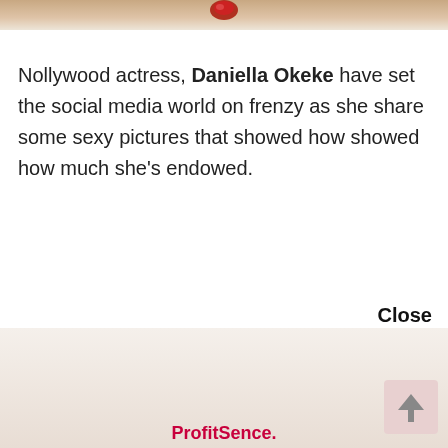[Figure (photo): Top strip showing partial cropped image with beige/tan background and a small colorful object visible at top center]
Nollywood actress, Daniella Okeke have set the social media world on frenzy as she share some sexy pictures that showed how showed how much she's endowed.
Close
[Figure (other): Scroll-to-top button with arrow in bottom right area, light pink/beige background]
ProfitSence.